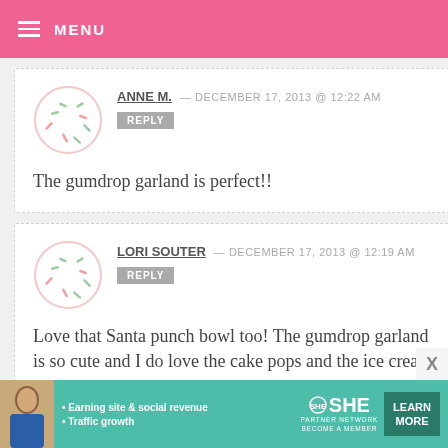MENU
ANNE M. — DECEMBER 17, 2013 @ 12:22 AM
REPLY
The gumdrop garland is perfect!!
LORI SOUTER — DECEMBER 17, 2013 @ 12:19 AM
REPLY
Love that Santa punch bowl too! The gumdrop garland is so cute and I do love the cake pops and the ice cream
[Figure (infographic): SHE Partner Network advertisement banner with woman photo, bullet points about earning site & social revenue and traffic growth, SHE logo, PARTNER NETWORK text, BECOME A MEMBER, and LEARN MORE button]